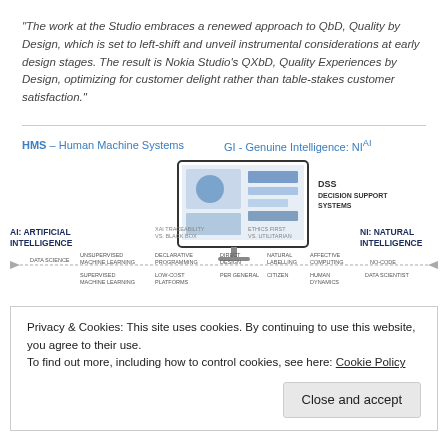“The work at the Studio embraces a renewed approach to QbD, Quality by Design, which is set to left-shift and unveil instrumental considerations at early design stages. The result is Nokia Studio’s QXbD, Quality Experiences by Design, optimizing for customer delight rather than table-stakes customer satisfaction.”
HMS – Human Machine Systems    GI - Genuine Intelligence: NIAI
[Figure (infographic): Diagram showing a spectrum from AI: Artificial Intelligence on the left to NI: Natural Intelligence on the right, with a monitor displaying DSS Decision Support Systems in the center. Various labels such as unsupervised machine learning, declarative programming, direct design, natural labelling, affective computing, supervised machine learning, low-cost platforms, per general, citizen, human dynamics, no-code, data scientist listed across the spectrum.]
Privacy & Cookies: This site uses cookies. By continuing to use this website, you agree to their use.
To find out more, including how to control cookies, see here: Cookie Policy
Close and accept